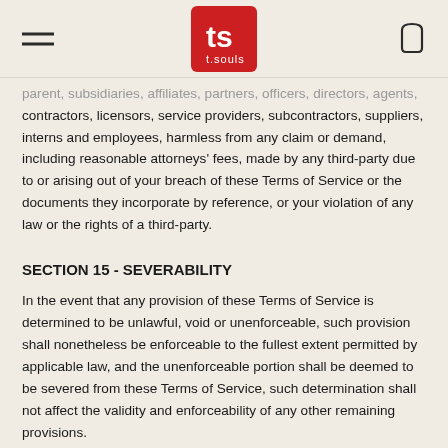t.souls logo with hamburger menu and cart icon
parent, subsidiaries, affiliates, partners, officers, directors, agents, contractors, licensors, service providers, subcontractors, suppliers, interns and employees, harmless from any claim or demand, including reasonable attorneys' fees, made by any third-party due to or arising out of your breach of these Terms of Service or the documents they incorporate by reference, or your violation of any law or the rights of a third-party.
SECTION 15 - SEVERABILITY
In the event that any provision of these Terms of Service is determined to be unlawful, void or unenforceable, such provision shall nonetheless be enforceable to the fullest extent permitted by applicable law, and the unenforceable portion shall be deemed to be severed from these Terms of Service, such determination shall not affect the validity and enforceability of any other remaining provisions.